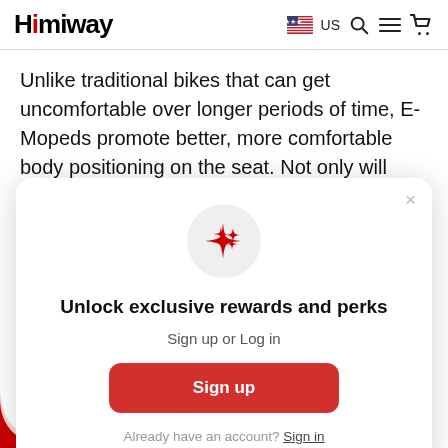Himiway | US
Unlike traditional bikes that can get uncomfortable over longer periods of time, E-Mopeds promote better, more comfortable body positioning on the seat. Not only will your rides be a lot more
[Figure (screenshot): Modal popup with sparkle icon circle, title 'Unlock exclusive rewards and perks', subtitle 'Sign up or Log in', a red Sign up button, and footer text 'Already have an account? Sign in']
Unlock exclusive rewards and perks
Sign up or Log in
Sign up
Already have an account? Sign in